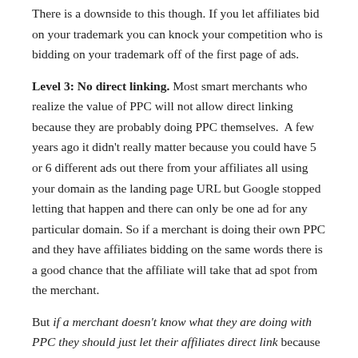There is a downside to this though. If you let affiliates bid on your trademark you can knock your competition who is bidding on your trademark off of the first page of ads.
Level 3: No direct linking. Most smart merchants who realize the value of PPC will not allow direct linking because they are probably doing PPC themselves.  A few years ago it didn't really matter because you could have 5 or 6 different ads out there from your affiliates all using your domain as the landing page URL but Google stopped letting that happen and there can only be one ad for any particular domain. So if a merchant is doing their own PPC and they have affiliates bidding on the same words there is a good chance that the affiliate will take that ad spot from the merchant.
But if a merchant doesn't know what they are doing with PPC they should just let their affiliates direct link because the 10 percent commission (or whatever they